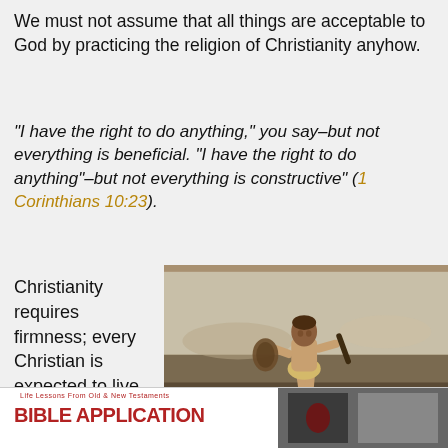We must not assume that all things are acceptable to God by practicing the religion of Christianity anyhow.
“I have the right to do anything,” you say–but not everything is beneficial. “I have the right to do anything”–but not everything is constructive” (1 Corinthians 10:23).
Christianity requires firmness; every Christian is expected to live a bible-principled lifestyle.
[Figure (photo): A painted miniature figurine of a warrior/gladiator holding weapons, posed in a fighting stance, photographed outdoors on a wooden surface with blurred background.]
[Figure (photo): Bottom strip showing a book titled 'BIBLE APPLICATION' with a red banner and subtitle 'Life Lessons From Old & New Testaments', partially visible.]